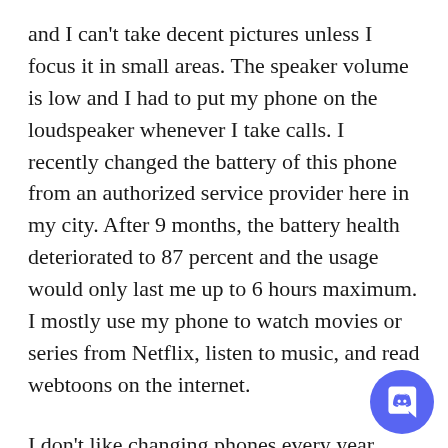and I can't take decent pictures unless I focus it in small areas. The speaker volume is low and I had to put my phone on the loudspeaker whenever I take calls. I recently changed the battery of this phone from an authorized service provider here in my city. After 9 months, the battery health deteriorated to 87 percent and the usage would only last me up to 6 hours maximum. I mostly use my phone to watch movies or series from Netflix, listen to music, and read webtoons on the internet.
I don't like changing phones every year because for me it is not economical or convenient. I've been debating whether or not to purchase the most recent release from the same brand for months. I researched the pros and cons. After much deliberation, I chose a phone that would suit my lifestyle needs. The phone's battery capacity is on
[Figure (logo): Discord logo button — circular purple button with white Discord logo icon in the bottom-right corner of the page]